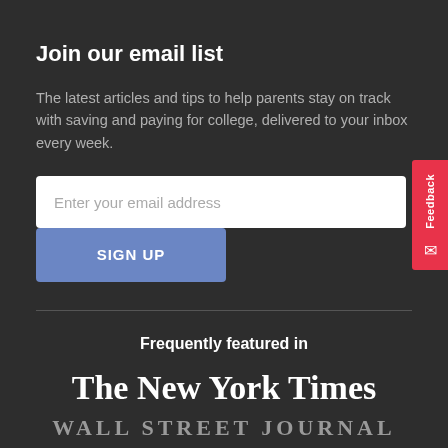Join our email list
The latest articles and tips to help parents stay on track with saving and paying for college, delivered to your inbox every week.
Enter your email address
SIGN UP
Frequently featured in
The New York Times
WALL STREET JOURNAL